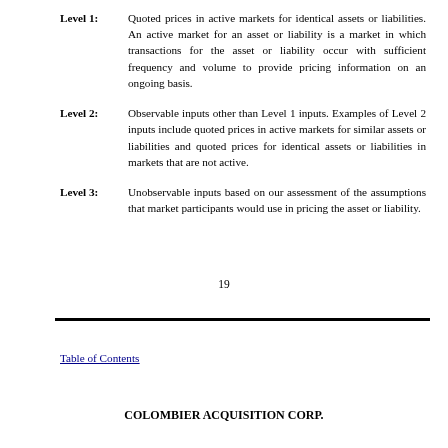Level 1: Quoted prices in active markets for identical assets or liabilities. An active market for an asset or liability is a market in which transactions for the asset or liability occur with sufficient frequency and volume to provide pricing information on an ongoing basis.
Level 2: Observable inputs other than Level 1 inputs. Examples of Level 2 inputs include quoted prices in active markets for similar assets or liabilities and quoted prices for identical assets or liabilities in markets that are not active.
Level 3: Unobservable inputs based on our assessment of the assumptions that market participants would use in pricing the asset or liability.
19
Table of Contents
COLOMBIER ACQUISITION CORP.